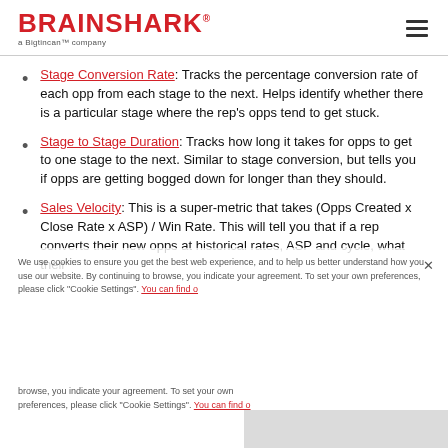BRAINSHARK a Bigtincan™ company
Stage Conversion Rate: Tracks the percentage conversion rate of each opp from each stage to the next.  Helps identify whether there is a particular stage where the rep's opps tend to get stuck.
Stage to Stage Duration: Tracks how long it takes for opps to get to one stage to the next.  Similar to stage conversion, but tells you if opps are getting bogged down for longer than they should.
Sales Velocity: This is a super-metric that takes (Opps Created x Close Rate x ASP) / Win Rate.  This will tell you that if a rep converts their new opps at historical rates, ASP and cycle, what their